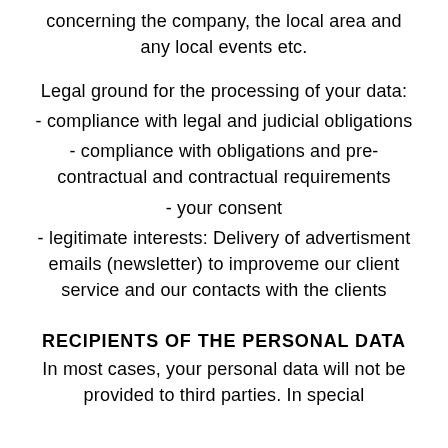concerning the company, the local area and any local events etc.
Legal ground for the processing of your data:
- compliance with legal and judicial obligations
- compliance with obligations and pre-contractual and contractual requirements
- your consent
- legitimate interests: Delivery of advertisment emails (newsletter) to improveme our client service and our contacts with the clients
RECIPIENTS OF THE PERSONAL DATA
In most cases, your personal data will not be provided to third parties. In special